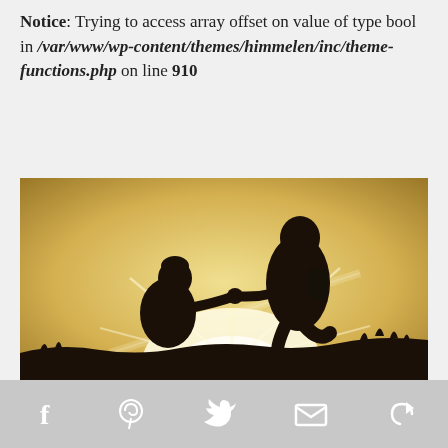Notice: Trying to access array offset on value of type bool in /var/www/wp-content/themes/himmelen/inc/theme-functions.php on line 910
[Figure (photo): Silhouette of two people holding hands against a bright sunset, one pulling the other up. Warm yellow-gold sky with sun rays visible near the horizon. Dark silhouetted figures and landscape foreground.]
Social share icons: Facebook, Pinterest, Twitter, Email, More